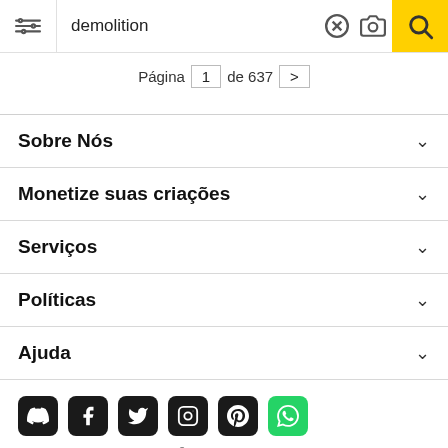[Figure (screenshot): Search bar with filter icon, 'demolition' text, clear (X) button, camera icon, and yellow search button]
Página  1  de 637  >
Sobre Nós
Monetize suas criações
Serviços
Políticas
Ajuda
[Figure (screenshot): Social media icons row: Discord, Facebook, Twitter, Instagram, Pinterest, WhatsApp]
Todos os direitos reservados. © Inmagine Lab Pte Ltd 2022.